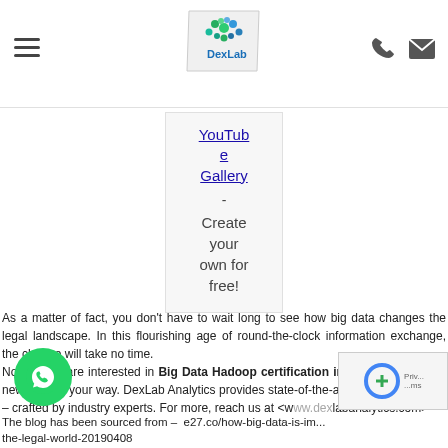DexLab - navigation header with hamburger menu, logo, phone and mail icons
YouTube Gallery - Create your own for free!
As a matter of fact, you don't have to wait long to see how big data changes the legal landscape. In this flourishing age of round-the-clock information exchange, the change will take no time.
Now, if you are interested in Big Data Hadoop certification in Delhi, we've good news rolling your way. DexLab Analytics provides state-of-the-art big data courses – crafted by industry experts. For more, reach us at <www.dexlabanalytics.com>
The blog has been sourced from – e27.co/how-big-data-is-im... the-legal-world-20190408